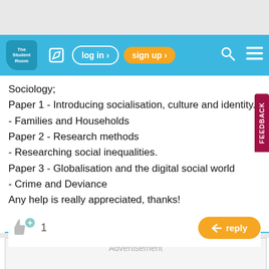[Figure (screenshot): The Student Room website navigation bar with logo, edit icon, log in button, sign up button, search icon, and menu icon on a blue background]
Sociology;
Paper 1 - Introducing socialisation, culture and identity.
- Families and Households
Paper 2 - Research methods
- Researching social inequalities.
Paper 3 - Globalisation and the digital social world
- Crime and Deviance
Any help is really appreciated, thanks!
Advertisement